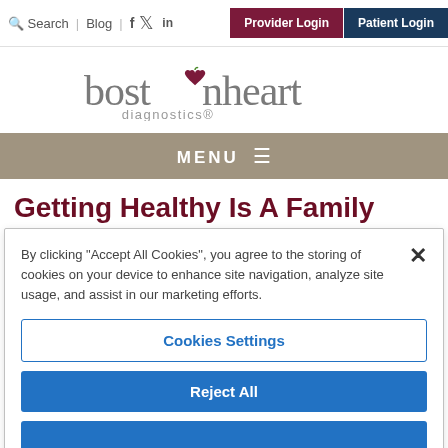Search | Blog | f  y  in  Provider Login  Patient Login
[Figure (logo): Boston Heart Diagnostics logo with stylized heart replacing the letter 'o' in 'boston']
MENU ≡
Getting Healthy Is A Family Affair
By clicking "Accept All Cookies", you agree to the storing of cookies on your device to enhance site navigation, analyze site usage, and assist in our marketing efforts.
Cookies Settings
Reject All